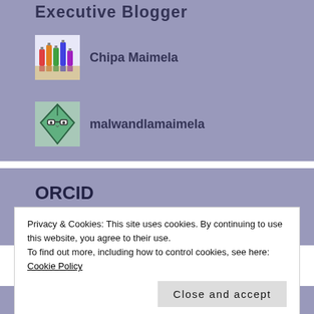Executive Blogger
Chipa Maimela
malwandlamaimela
ORCID
https://orcid.org/0000-0002-4002
Privacy & Cookies: This site uses cookies. By continuing to use this website, you agree to their use.
To find out more, including how to control cookies, see here: Cookie Policy
Close and accept
Follow Blog via Email